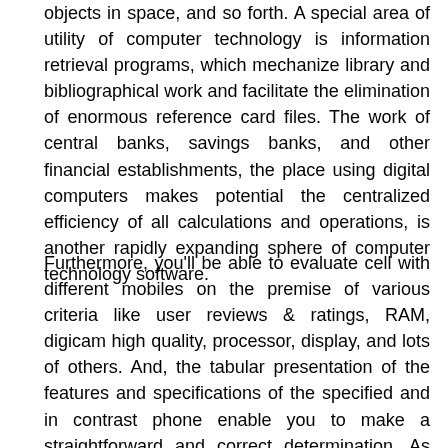objects in space, and so forth. A special area of utility of computer technology is information retrieval programs, which mechanize library and bibliographical work and facilitate the elimination of enormous reference card files. The work of central banks, savings banks, and other financial establishments, the place using digital computers makes potential the centralized efficiency of all calculations and operations, is another rapidly expanding sphere of computer technology software.
Furthermore, you'll be able to evaluate cell with different mobiles on the premise of various criteria like user reviews & ratings, RAM, digicam high quality, processor, display, and lots of others. And, the tabular presentation of the features and specifications of the specified and in contrast phone enable you to make a straightforward and correct determination. As new technologies continue to emerge, the need for computer programmers continues to develop as well. In case you have a knack for the language of